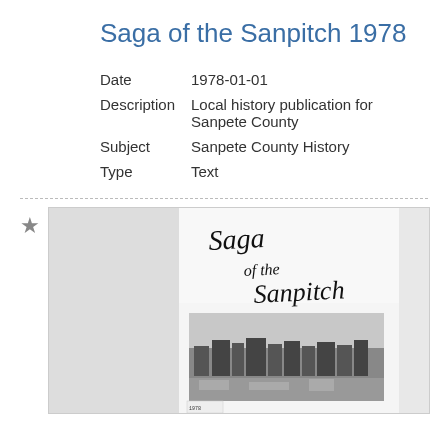Saga of the Sanpitch 1978
| Date | 1978-01-01 |
| Description | Local history publication for Sanpete County |
| Subject | Sanpete County History |
| Type | Text |
[Figure (photo): Book cover thumbnail of 'Saga of the Sanpitch' showing the title in cursive script over a black and white landscape photograph]